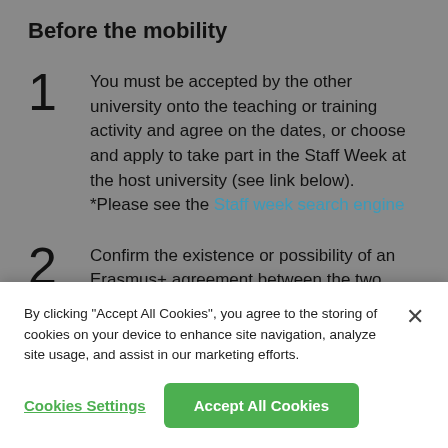Before the mobility
You must be accepted by the other university onto the teaching or training activity and agree on the dates, or choose and apply to take part in the Staff Week at the host university (see link below). *Please see the Staff week search engine
Confirm the existence or possibility of an Erasmus+ agreement between the two
By clicking “Accept All Cookies”, you agree to the storing of cookies on your device to enhance site navigation, analyze site usage, and assist in our marketing efforts.
Cookies Settings | Accept All Cookies